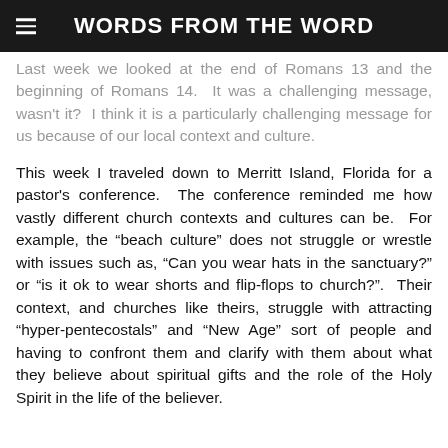WORDS FROM THE WORD
Last week we looked at the end of Romans 13 and the beginning of Romans 14. It was a challenging message, wasn't it? I think it is a particularly challenging message for us because of our local context and culture.
This week I traveled down to Merritt Island, Florida for a pastor's conference. The conference reminded me how vastly different church contexts and cultures can be. For example, the “beach culture” does not struggle or wrestle with issues such as, “Can you wear hats in the sanctuary?” or “is it ok to wear shorts and flip-flops to church?”. Their context, and churches like theirs, struggle with attracting “hyper-pentecostals” and “New Age” sort of people and having to confront them and clarify with them about what they believe about spiritual gifts and the role of the Holy Spirit in the life of the believer.